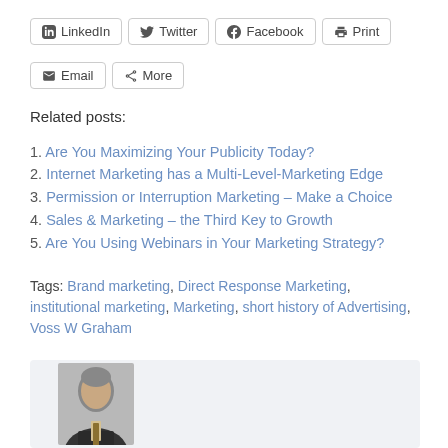LinkedIn
Twitter
Facebook
Print
Email
More
Related posts:
Are You Maximizing Your Publicity Today?
Internet Marketing has a Multi-Level-Marketing Edge
Permission or Interruption Marketing – Make a Choice
Sales & Marketing – the Third Key to Growth
Are You Using Webinars in Your Marketing Strategy?
Tags: Brand marketing, Direct Response Marketing, institutional marketing, Marketing, short history of Advertising, Voss W Graham
[Figure (photo): Headshot photo of a middle-aged man in a dark suit with a light shirt and tie, light gray background]